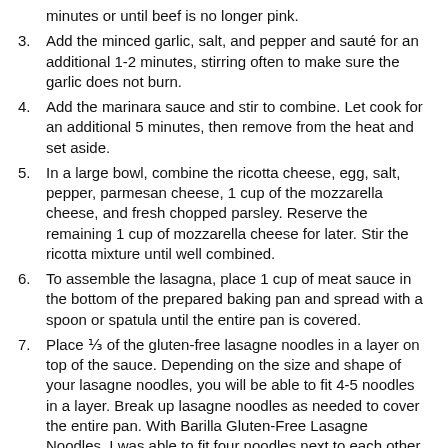minutes or until beef is no longer pink.
3. Add the minced garlic, salt, and pepper and sauté for an additional 1-2 minutes, stirring often to make sure the garlic does not burn.
4. Add the marinara sauce and stir to combine. Let cook for an additional 5 minutes, then remove from the heat and set aside.
5. In a large bowl, combine the ricotta cheese, egg, salt, pepper, parmesan cheese, 1 cup of the mozzarella cheese, and fresh chopped parsley. Reserve the remaining 1 cup of mozzarella cheese for later. Stir the ricotta mixture until well combined.
6. To assemble the lasagna, place 1 cup of meat sauce in the bottom of the prepared baking pan and spread with a spoon or spatula until the entire pan is covered.
7. Place ⅓ of the gluten-free lasagne noodles in a layer on top of the sauce. Depending on the size and shape of your lasagne noodles, you will be able to fit 4-5 noodles in a layer. Break up lasagne noodles as needed to cover the entire pan. With Barilla Gluten-Free Lasagne Noodles, I was able to fit four noodles next to each other and then broke up a fifth